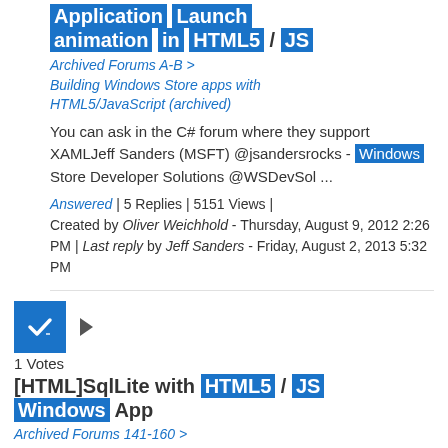Application Launch animation in HTML5 / JS
Archived Forums A-B > Building Windows Store apps with HTML5/JavaScript (archived)
You can ask in the C# forum where they support XAMLJeff Sanders (MSFT) @jsandersrocks - Windows Store Developer Solutions @WSDevSol ...
Answered | 5 Replies | 5151 Views | Created by Oliver Weichhold - Thursday, August 9, 2012 2:26 PM | Last reply by Jeff Sanders - Friday, August 2, 2013 5:32 PM
1 Votes
[HTML]SqlLite with HTML5 / JS Windows App
Archived Forums 141-160 > Developing Universal Windows apps
>Is SQLLite an option for me considering this is a HTML5 application on Windows store.
Answered | 2 Replies | 767 Views | Created